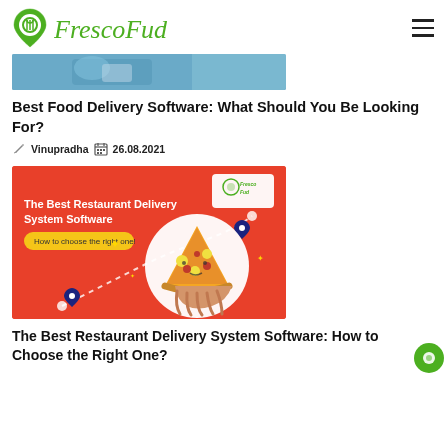FrescoFud
[Figure (photo): Partial view of a food delivery scene, person in blue handling food/bags]
Best Food Delivery Software: What Should You Be Looking For?
Vinupradha  26.08.2021
[Figure (illustration): Orange/red promotional banner: The Best Restaurant Delivery System Software - How to choose the right one! with pizza slice illustration and delivery route dots]
The Best Restaurant Delivery System Software: How to Choose the Right One?